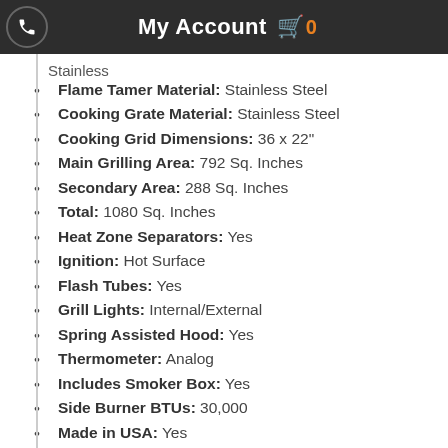My Account
Stainless
Flame Tamer Material: Stainless Steel
Cooking Grate Material: Stainless Steel
Cooking Grid Dimensions: 36 x 22"
Main Grilling Area: 792 Sq. Inches
Secondary Area: 288 Sq. Inches
Total: 1080 Sq. Inches
Heat Zone Separators: Yes
Ignition: Hot Surface
Flash Tubes: Yes
Grill Lights: Internal/External
Spring Assisted Hood: Yes
Thermometer: Analog
Includes Smoker Box: Yes
Side Burner BTUs: 30,000
Made in USA: Yes
Commercial: Yes